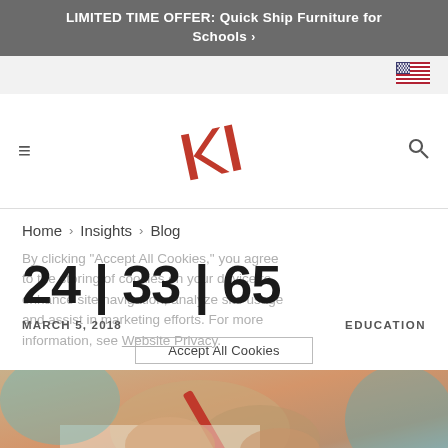LIMITED TIME OFFER: Quick Ship Furniture for Schools >
[Figure (logo): US flag icon in top bar]
[Figure (logo): KI company logo - red KI letters tilted]
Home > Insights > Blog
By clicking "Accept All Cookies," you agree to the storing of cookies on your device to enhance site navigation, analyze site usage and assist in marketing efforts. For more information, see Website Privacy.
24 | 33 | 65
MARCH 5, 2018
EDUCATION
[Figure (photo): Child's hands holding a red pencil or marker, writing or drawing on paper]